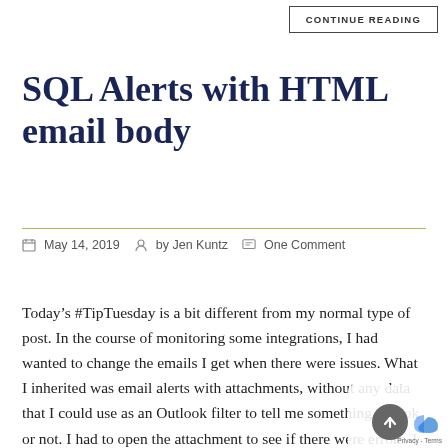CONTINUE READING
SQL Alerts with HTML email body
May 14, 2019   by Jen Kuntz   One Comment
Today’s #TipTuesday is a bit different from my normal type of post. In the course of monitoring some integrations, I had wanted to change the emails I get when there were issues. What I inherited was email alerts with attachments, without any data that I could use as an Outlook filter to tell me something was ok or not. I had to open the attachment to see if there were errors. I wanted to find something better.